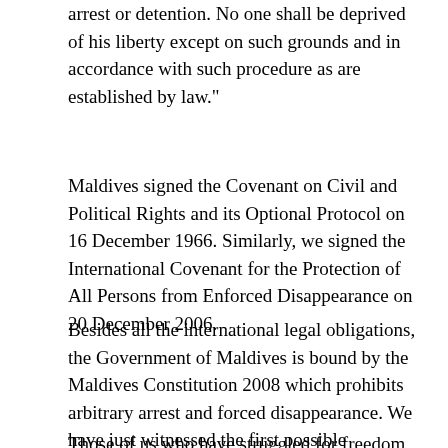arrest or detention. No one shall be deprived of his liberty except on such grounds and in accordance with such procedure as are established by law."
Maldives signed the Covenant on Civil and Political Rights and its Optional Protocol on 16 December 1966. Similarly, we signed the International Covenant for the Protection of All Persons from Enforced Disappearance on 20 December 2006.
Besides all the international legal obligations, the Government of Maldives is bound by the Maldives Constitution 2008 which prohibits arbitrary arrest and forced disappearance. We have just witnessed the first possible violation since the dawn of democracy in our country. I cannot understand why this is not an issue for everyone in this country.
Those of us who have struggled for freedom in this